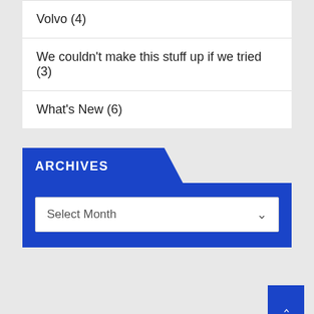Volvo (4)
We couldn't make this stuff up if we tried (3)
What's New (6)
ARCHIVES
Select Month